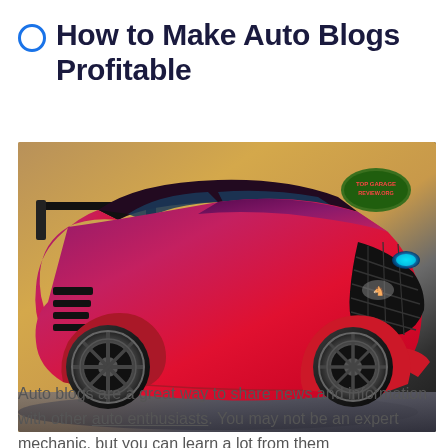How to Make Auto Blogs Profitable
[Figure (photo): A red and purple custom Ford Mustang sports car with wide body kit, large rear wing, and black mesh grille, photographed in a studio-like setting with golden/metallic background. A green oval badge/logo is visible in the upper right of the image.]
Auto blogs are a great way to share news and information with other auto enthusiasts. You may not be an expert mechanic, but you can learn a lot from them